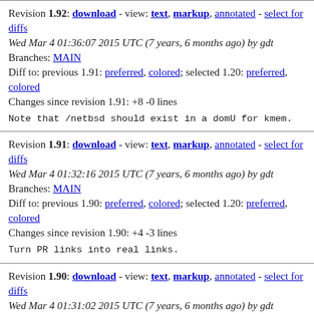Revision 1.92: download - view: text, markup, annotated - select for diffs
Wed Mar 4 01:36:07 2015 UTC (7 years, 6 months ago) by gdt
Branches: MAIN
Diff to: previous 1.91: preferred, colored; selected 1.20: preferred, colored
Changes since revision 1.91: +8 -0 lines
Note that /netbsd should exist in a domU for kmem.
Revision 1.91: download - view: text, markup, annotated - select for diffs
Wed Mar 4 01:32:16 2015 UTC (7 years, 6 months ago) by gdt
Branches: MAIN
Diff to: previous 1.90: preferred, colored; selected 1.20: preferred, colored
Changes since revision 1.90: +4 -3 lines
Turn PR links into real links.
Revision 1.90: download - view: text, markup, annotated - select for diffs
Wed Mar 4 01:31:02 2015 UTC (7 years, 6 months ago) by gdt
Branches: MAIN